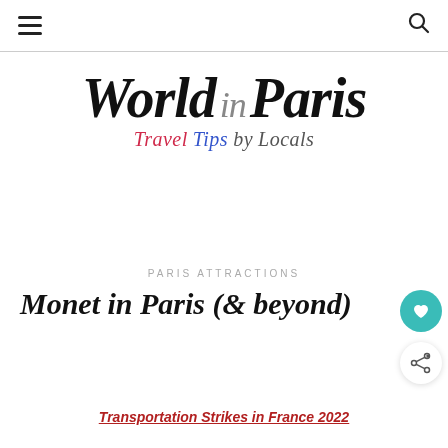≡  🔍
[Figure (logo): World in Paris logo — 'World' and 'Paris' in bold black italic serif, 'in' in gray italic, tagline 'Travel Tips by Locals' in italic with Travel in red, Tips in blue, by Locals in gray]
PARIS ATTRACTIONS
Monet in Paris (& beyond)
Transportation Strikes in France 2022